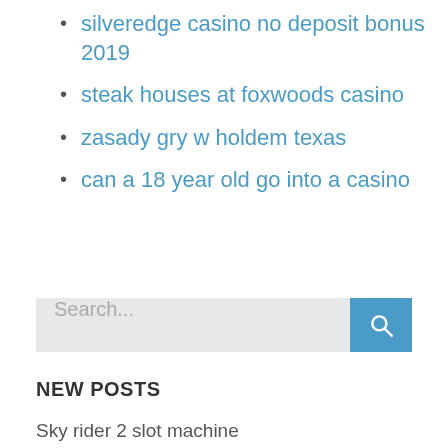silveredge casino no deposit bonus 2019
steak houses at foxwoods casino
zasady gry w holdem texas
can a 18 year old go into a casino
Search...
NEW POSTS
Sky rider 2 slot machine